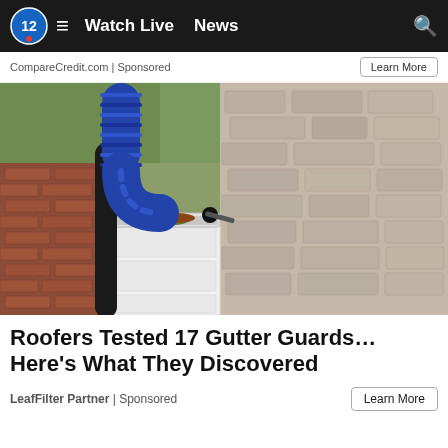Watch Live  News
CompareCredit.com | Sponsored
[Figure (photo): Close-up photo of a blue flexible vacuum hose being inserted into a dirty house gutter filled with debris and plant growth, against a stone wall background.]
Roofers Tested 17 Gutter Guards... Here’s What They Discovered
LeafFilter Partner | Sponsored